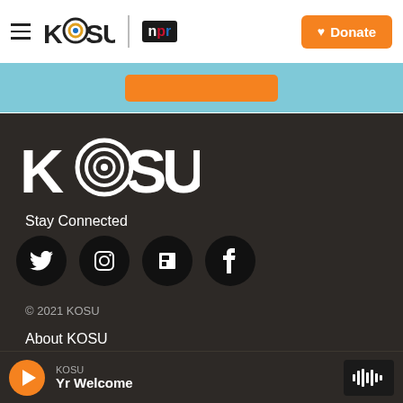KOSU | npr  [Donate]
[Figure (screenshot): Light blue banner strip with orange button partially visible]
[Figure (logo): KOSU large white logo on dark background]
Stay Connected
[Figure (infographic): Four social media icons: Twitter, Instagram, Flipboard, Facebook — white icons on black circles]
© 2021 KOSU
About KOSU
Contact Us
KOSU  Yr Welcome  [play button] [waveform]